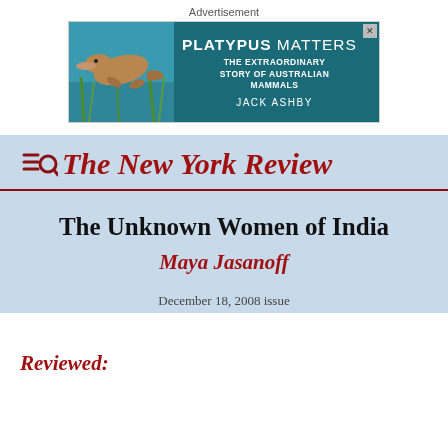Advertisement
[Figure (illustration): Advertisement banner for 'Platypus Matters: The Extraordinary Story of Australian Mammals' by Jack Ashby. Teal/dark green background with a platypus swimming image on the left and book title text on the right.]
The New York Review
The Unknown Women of India
Maya Jasanoff
December 18, 2008 issue
Reviewed: